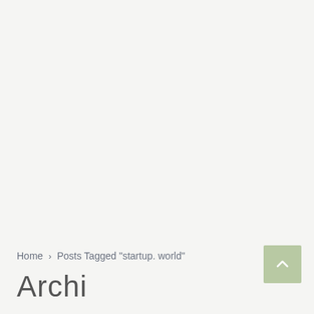Home > Posts Tagged "startup. world"
Archi...
[Figure (other): Scroll-to-top button with upward chevron arrow, light green/sage background]